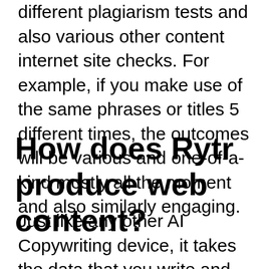different plagiarism tests and also various other content internet site checks. For example, if you make use of the same phrases or titles 5 different times, the outcomes will be various and one-of-a-kind mostly all the moment and also similarly engaging.
How does Rytr produce web content?
Just like any other AI Copywriting device, it takes the data that you write and generates new web content after including the required key words, outlines, inquiries, tones, and numerous other devices that the web site gives. After doing all the steps in the right ways, the AI device will start functioning, as